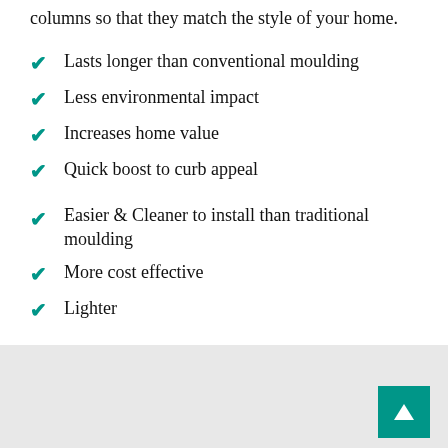columns so that they match the style of your home.
Lasts longer than conventional moulding
Less environmental impact
Increases home value
Quick boost to curb appeal
Easier & Cleaner to install than traditional moulding
More cost effective
Lighter